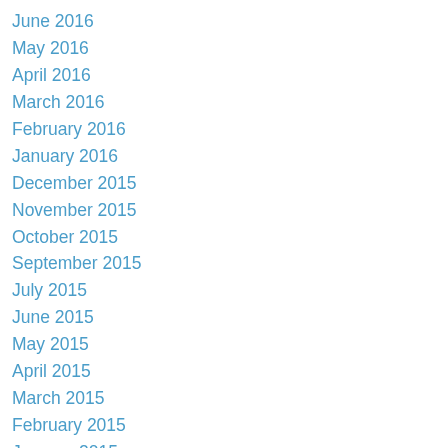June 2016
May 2016
April 2016
March 2016
February 2016
January 2016
December 2015
November 2015
October 2015
September 2015
July 2015
June 2015
May 2015
April 2015
March 2015
February 2015
January 2015
June 2014
October 2013
June 2013
May 2013